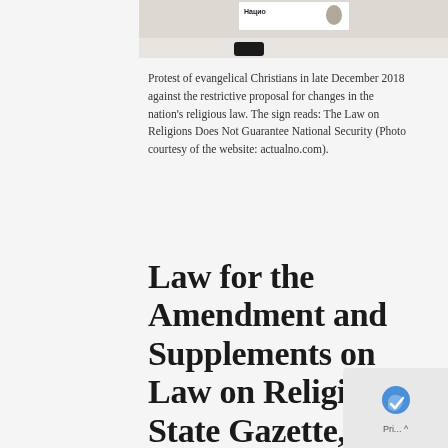[Figure (photo): Partial view of a protest photo showing a sign in Russian (Cyrillic) text, with a person visible in the background against a light/snowy background.]
Protest of evangelical Christians in late December 2018 against the restrictive proposal for changes in the nation's religious law. The sign reads: The Law on Religions Does Not Guarantee National Security (Photo courtesy of the website: actualno.com).
Law for the Amendment and Supplements on Law on Religions, State Gazette, nos. 108 of 29.12.2018, enacted